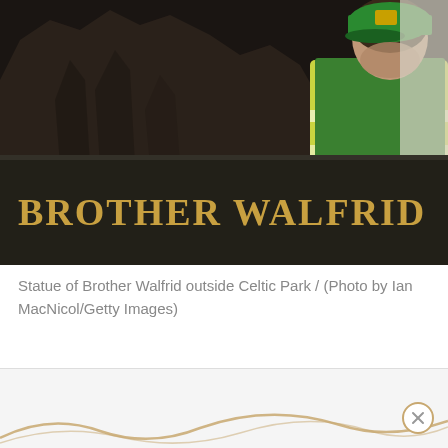[Figure (photo): Photograph showing the base of the Brother Walfrid statue with golden lettering reading 'BROTHER WALFRID' on a dark plinth, with a construction worker in a high-visibility yellow/green vest and green cap visible in the background outside Celtic Park.]
Statue of Brother Walfrid outside Celtic Park / (Photo by Ian MacNicol/Getty Images)